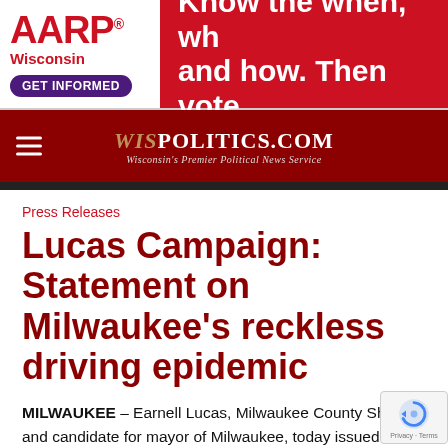[Figure (other): AARP Wisconsin advertisement banner with red logo, 'GET INFORMED' button in purple, and red background with text 'Know the when, who and how. Then vote.']
[Figure (other): WISPOLITICS.COM navigation bar with hamburger menu icon on dark red background, site logo and tagline 'Wisconsin's Premier Political News Service']
Press Releases
Lucas Campaign: Statement on Milwaukee's reckless driving epidemic
MILWAUKEE – Earnell Lucas, Milwaukee County Sheriff and candidate for mayor of Milwaukee, today issued the following statement regarding Milwaukee's ongoing reckless driving epidemic: